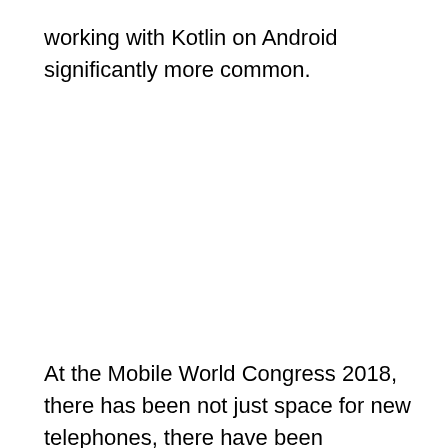working with Kotlin on Android significantly more common.
At the Mobile World Congress 2018, there has been not just space for new telephones, there have been some notable developer corner libraries, this